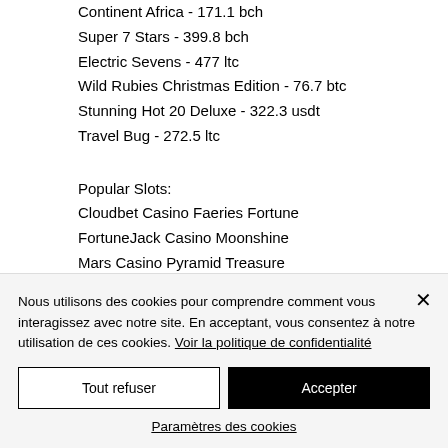Continent Africa - 171.1 bch
Super 7 Stars - 399.8 bch
Electric Sevens - 477 ltc
Wild Rubies Christmas Edition - 76.7 btc
Stunning Hot 20 Deluxe - 322.3 usdt
Travel Bug - 272.5 ltc
Popular Slots:
Cloudbet Casino Faeries Fortune
FortuneJack Casino Moonshine
Mars Casino Pyramid Treasure
Nous utilisons des cookies pour comprendre comment vous interagissez avec notre site. En acceptant, vous consentez à notre utilisation de ces cookies. Voir la politique de confidentialité
Tout refuser
Accepter
Paramètres des cookies